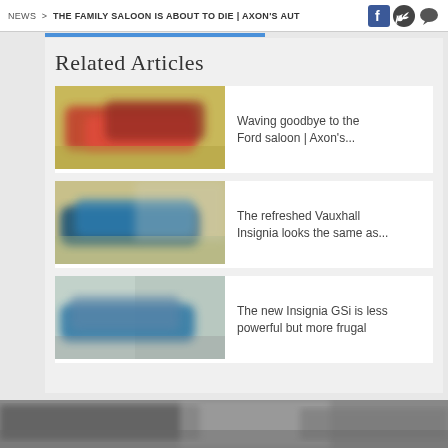NEWS > THE FAMILY SALOON IS ABOUT TO DIE | AXON'S AUT
Related Articles
[Figure (photo): Blurred photo of red cars, related article thumbnail]
Waving goodbye to the Ford saloon | Axon's...
[Figure (photo): Blurred photo of a blue car, related article thumbnail]
The refreshed Vauxhall Insignia looks the same as...
[Figure (photo): Blurred photo of a blue/grey car, related article thumbnail]
The new Insignia GSi is less powerful but more frugal
[Figure (photo): Bottom strip photo of cars]